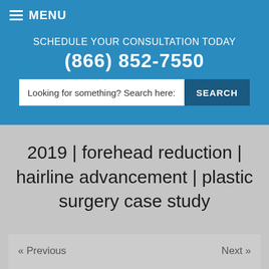MENU
SCHEDULE YOUR CONSULTATION TODAY
(866) 852-7550
Looking for something? Search here:
2019  |  forehead reduction  |  hairline advancement  |  plastic surgery case study
« Previous
Next »
[Figure (photo): Before and after photos of a plastic surgery patient showing forehead reduction and hairline advancement procedure results.]